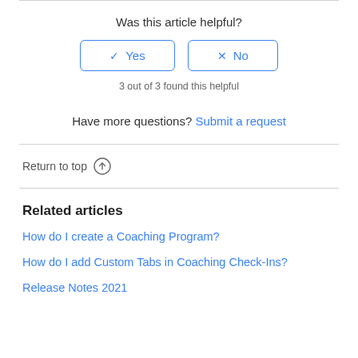Was this article helpful?
✓ Yes | × No
3 out of 3 found this helpful
Have more questions? Submit a request
Return to top ↑
Related articles
How do I create a Coaching Program?
How do I add Custom Tabs in Coaching Check-Ins?
Release Notes 2021